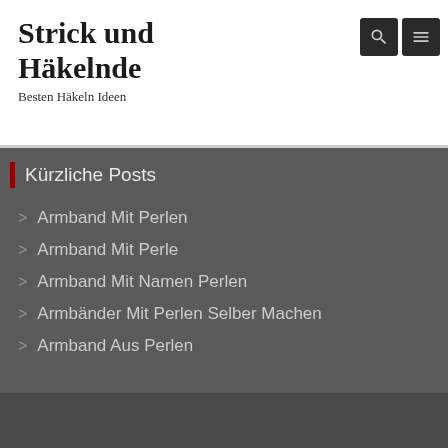Strick und Häkelnde
Besten Häkeln Ideen
Kürzliche Posts
Armband Mit Perlen
Armband Mit Perle
Armband Mit Namen Perlen
Armbänder Mit Perlen Selber Machen
Armband Aus Perlen
Strick und Hakelnde © All Right Reserved 2018